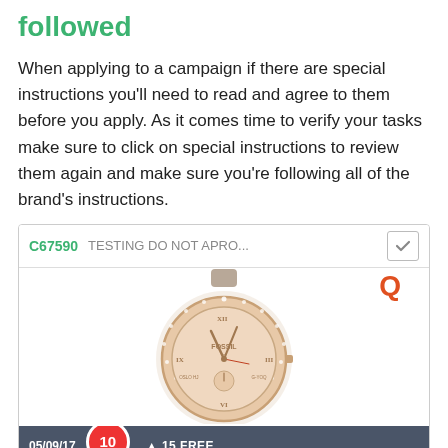followed
When applying to a campaign if there are special instructions you'll need to read and agree to them before you apply.  As it comes time to verify your tasks make sure to click on special instructions to review them again and make sure you're following all of the brand's instructions.
[Figure (screenshot): Screenshot of a campaign card showing C67590 TESTING DO NOT APRO... with a checkmark box, a Fossil Q watch image with Q icon, and a bottom bar showing date 05/09/17, a red circle with number 10, and a price tag.]